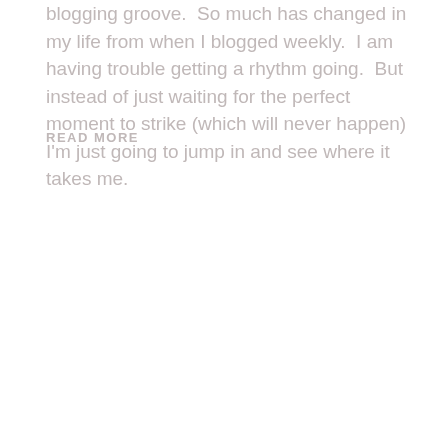blogging groove.  So much has changed in my life from when I blogged weekly.  I am having trouble getting a rhythm going.  But instead of just waiting for the perfect moment to strike (which will never happen) I'm just going to jump in and see where it takes me.
READ MORE